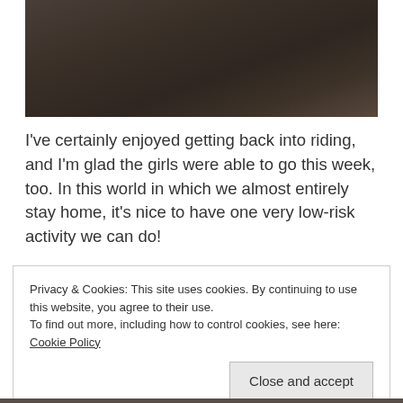[Figure (photo): Dark textured background photo, partially cropped at the top of the page]
I've certainly enjoyed getting back into riding, and I'm glad the girls were able to go this week, too. In this world in which we almost entirely stay home, it's nice to have one very low-risk activity we can do!
Privacy & Cookies: This site uses cookies. By continuing to use this website, you agree to their use.
To find out more, including how to control cookies, see here: Cookie Policy
[Close and accept]